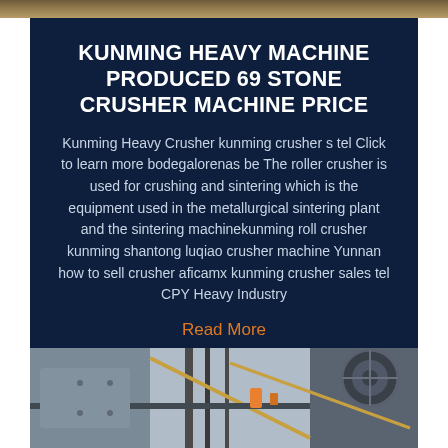[Figure (photo): Top edge of page showing rocky/earth surface texture in brown and tan tones]
KUNMING HEAVY MACHINE PRODUCED 69 STONE CRUSHER MACHINE PRICE
Kunming Heavy Crusher kunming crusher s tel Click to learn more bodegalorenas be The roller crusher is used for crushing and sintering which is the equipment used in the metallurgical sintering plant and the sintering machinekunming roll crusher kunming shantong luqiao crusher machine Yunnan how to sell crusher aficamx kunming crusher sales tel CPY Heavy Industry
Read More
[Figure (photo): Bottom portion showing industrial machinery/crusher equipment with metal framework, pipes and mechanical components]